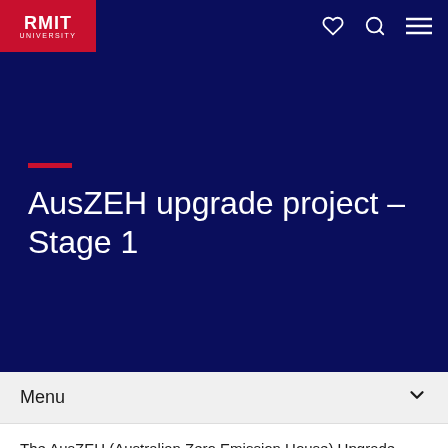RMIT UNIVERSITY
AusZEH upgrade project – Stage 1
Menu
The AusZEH (Australian Zero Emission House) Upgrade